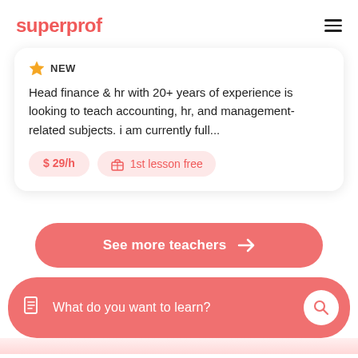superprof
NEW
Head finance & hr with 20+ years of experience is looking to teach accounting, hr, and management-related subjects. i am currently full...
$29/h  1st lesson free
See more teachers →
What do you want to learn?